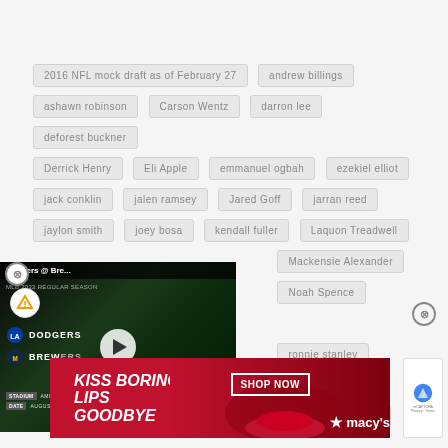2016 NFL mock draft as of February 27
andrew billings
ashawn robinson
Carson Wentz
darron lee
deforest buckner
Derrick Henry
Eli Apple
emmanuel ogbah
ezekiel elliot
jack conklin
jalen ramsey
Jared Goff
jarran reed
jaylon smith
joey bosa
kendall fuller
Laquon Treadwell
Mackensie Alexander
Noah Spence
paxton lynch
ronnie stanley
Shaq Lawson
vernon hargreaves
[Figure (screenshot): Video player showing Dodgers @ Brewers MLB 2022 regular season game, date August 18, 2022, with play button overlay]
[Figure (photo): Advertisement banner: KISS BORING LIPS GOODBYE with SHOP NOW button and macy's star logo on red background]